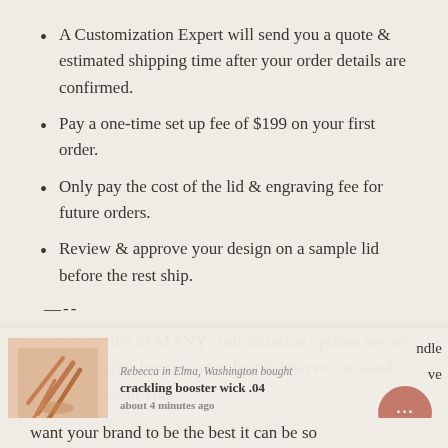A Customization Expert will send you a quote & estimated shipping time after your order details are confirmed.
Pay a one-time set up fee of $199 on your first order.
Only pay the cost of the lid & engraving fee for future orders.
Review & approve your design on a sample lid before the rest ship.
—--
This is the first of MANY customization options we are starting to offer because your brand deserves to stand out! If you want your brand to be the best it can be so
[Figure (infographic): Notification popup overlay showing a product image of crackling sticks/wicks on a peach background, with text: 'Rebecca in Elma, Washington bought crackling booster wick .04 about 4 minutes ago', partial text of 'ndle' and 've' visible, and a circular salmon-colored chat button with '...']